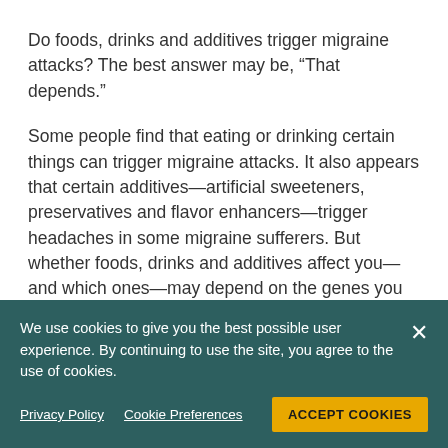Do foods, drinks and additives trigger migraine attacks? The best answer may be, “That depends.”
Some people find that eating or drinking certain things can trigger migraine attacks. It also appears that certain additives—artificial sweeteners, preservatives and flavor enhancers—trigger headaches in some migraine sufferers. But whether foods, drinks and additives affect you—and which ones—may depend on the genes you inherited.
Researchers have identified at least a dozen genes connected to migraine. They’ve also found that most migraine sufferers have multiple genes that
We use cookies to give you the best possible user experience. By continuing to use the site, you agree to the use of cookies.
Privacy Policy   Cookie Preferences   ACCEPT COOKIES